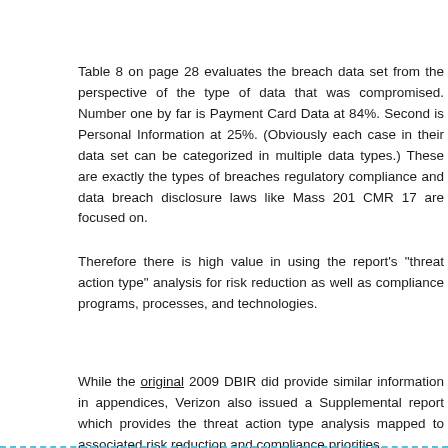Table 8 on page 28 evaluates the breach data set from the perspective of the type of data that was compromised. Number one by far is Payment Card Data at 84%. Second is Personal Information at 25%. (Obviously each case in their data set can be categorized in multiple data types.) These are exactly the types of breaches regulatory compliance and data breach disclosure laws like Mass 201 CMR 17 are focused on.
Therefore there is high value in using the report's "threat action type" analysis for risk reduction as well as compliance programs, processes, and technologies.
While the original 2009 DBIR did provide similar information in appendices, Verizon also issued a Supplemental report which provides the threat action type analysis mapped to associated risk reduction and compliance priorities.
[Figure (other): Tweet button with Twitter bird icon]